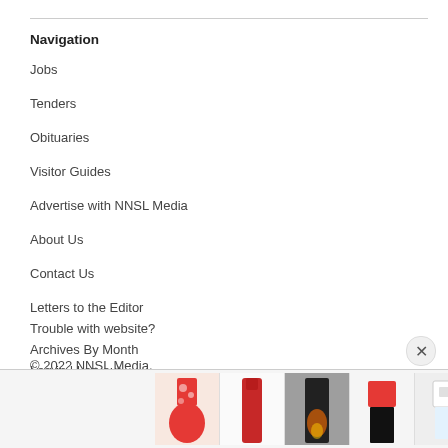Navigation
Jobs
Tenders
Obituaries
Visitor Guides
Advertise with NNSL Media
About Us
Contact Us
Letters to the Editor
Trouble with website?
Archives By Month
Log-in | Log-out
© 2022 NNSL Media.
Privacy Policy
[Figure (other): Advertisement banner with clothing images and ROTITA logo with close button]